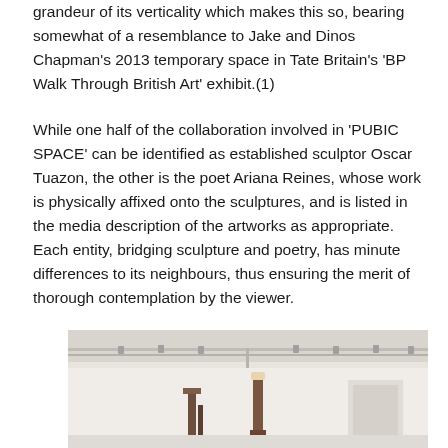grandeur of its verticality which makes this so, bearing somewhat of a resemblance to Jake and Dinos Chapman's 2013 temporary space in Tate Britain's 'BP Walk Through British Art' exhibit.(1)
While one half of the collaboration involved in 'PUBIC SPACE' can be identified as established sculptor Oscar Tuazon, the other is the poet Ariana Reines, whose work is physically affixed onto the sculptures, and is listed in the media description of the artworks as appropriate. Each entity, bridging sculpture and poetry, has minute differences to its neighbours, thus ensuring the merit of thorough contemplation by the viewer.
[Figure (photo): Gallery interior showing tall sculptural works made of wood standing in a white-walled space with a metal track/rail system on the ceiling with spotlights.]